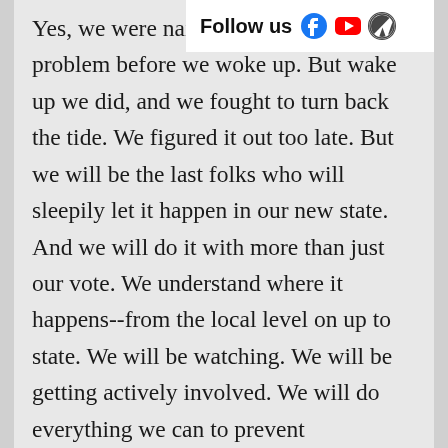Follow us
Yes, we were naive. Y a part of the problem before we woke up. But wake up we did, and we fought to turn back the tide. We figured it out too late. But we will be the last folks who will sleepily let it happen in our new state. And we will do it with more than just our vote. We understand where it happens--from the local level on up to state. We will be watching. We will be getting actively involved. We will do everything we can to prevent